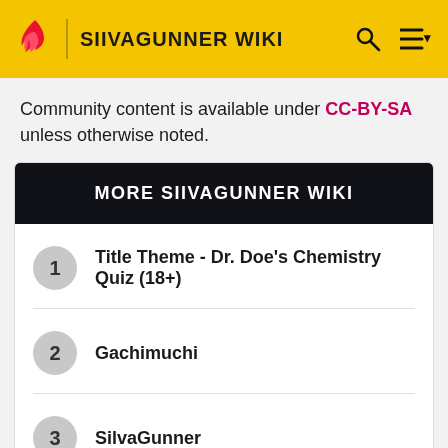SIIVAGUNNER WIKI
Community content is available under CC-BY-SA unless otherwise noted.
MORE SIIVAGUNNER WIKI
1  Title Theme - Dr. Doe's Chemistry Quiz (18+)
2  Gachimuchi
3  SilvaGunner